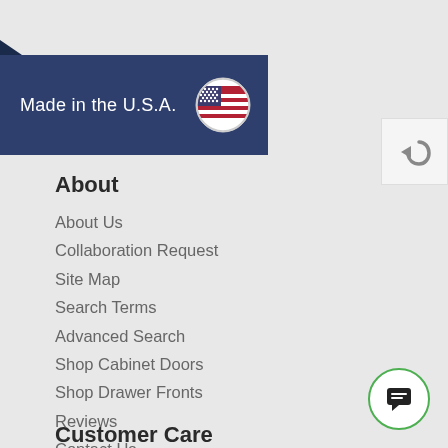[Figure (logo): Dark navy banner with 'Made in the U.S.A.' text and a circular American flag badge]
About
About Us
Collaboration Request
Site Map
Search Terms
Advanced Search
Shop Cabinet Doors
Shop Drawer Fronts
Reviews
Contact Us
Terms of Service
Privacy Policy
Trade Program
Customer Care